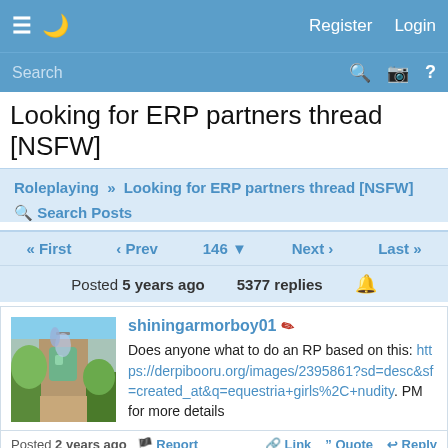≡ 🌙  Register  Login
Search 🔍 📷 ?
Looking for ERP partners thread [NSFW]
Roleplaying » Looking for ERP partners thread [NSFW]
🔍 Search Posts
« First  ‹ Prev  146 ▾  Next ›  Last »
Posted 5 years ago   5377 replies  🔔
shiningarmorboy01 ✏
Does anyone what to do an RP based on this: https://derpibooru.org/images/2395861?sd=desc&sf=created_at&q=equestria+girls%2C+nudity. PM for more details
Posted 2 years ago   🏳 Report   🔗 Link  " Quote  ↩ Reply
Dark Dash
Dominant top here. If anyone here would be